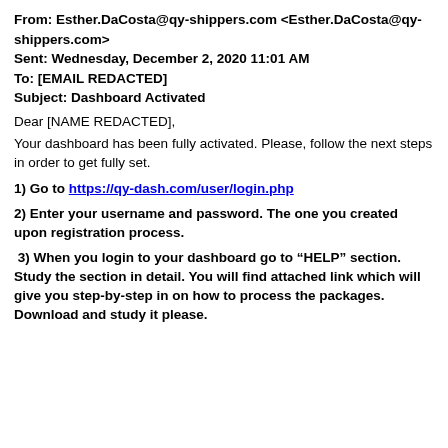From: Esther.DaCosta@qy-shippers.com <Esther.DaCosta@qy-shippers.com>
Sent: Wednesday, December 2, 2020 11:01 AM
To: [EMAIL REDACTED]
Subject: Dashboard Activated
Dear [NAME REDACTED],
Your dashboard has been fully activated. Please, follow the next steps in order to get fully set.
1) Go to https://qy-dash.com/user/login.php
2) Enter your username and password. The one you created upon registration process.
3) When you login to your dashboard go to “HELP” section. Study the section in detail. You will find attached link which will give you step-by-step in on how to process the packages. Download and study it please.